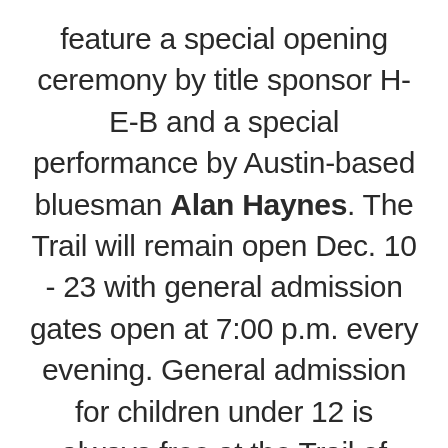feature a special opening ceremony by title sponsor H-E-B and a special performance by Austin-based bluesman Alan Haynes. The Trail will remain open Dec. 10 - 23 with general admission gates open at 7:00 p.m. every evening. General admission for children under 12 is always free at the Trail of Lights. There will be a general